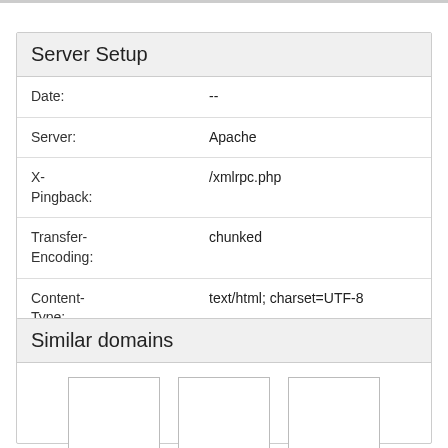| Field | Value |
| --- | --- |
| Date: | -- |
| Server: | Apache |
| X-Pingback: | /xmlrpc.php |
| Transfer-Encoding: | chunked |
| Content-Type: | text/html; charset=UTF-8 |
Similar domains
[Figure (other): Three thumbnail image placeholders for similar domains]